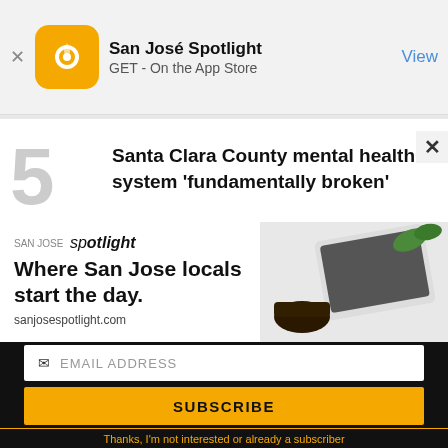[Figure (screenshot): App Store smart banner for San José Spotlight app showing logo icon, app name, GET - On the App Store subtitle, and View button]
Santa Clara County mental health system 'fundamentally broken'
[Figure (advertisement): San Jose Spotlight advertisement banner: Where San Jose locals start the day. sanjosespotlight.com with tablet/coffee cup image on right]
EMAIL ADDRESS
SUBSCRIBE
Thanks, I'm not interested or already a subscriber